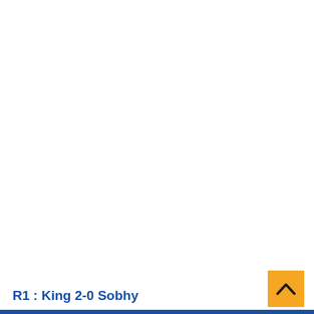R1 : King 2-0 Sobhy
[Figure (other): Orange square button with upward-pointing chevron/caret arrow icon]